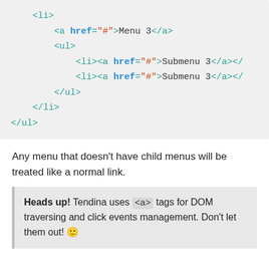[Figure (screenshot): Code block showing HTML list markup with <li>, <a href="#">Menu 3</a>, <ul>, two <li><a href="#">Submenu 3</a></li> items, </ul>, </li>, </ul>]
Any menu that doesn't have child menus will be treated like a normal link.
Heads up! Tendina uses <a> tags for DOM traversing and click events management. Don't let them out! 🙂